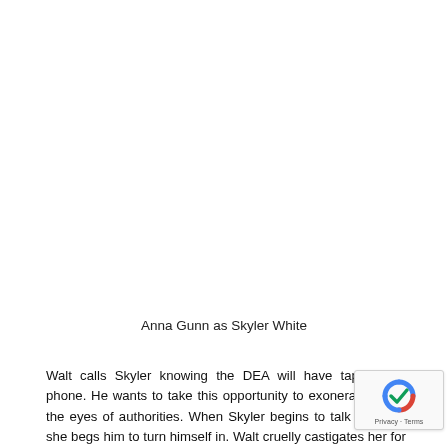Anna Gunn as Skyler White
Walt calls Skyler knowing the DEA will have tapped his phone. He wants to take this opportunity to exonerate her in the eyes of authorities. When Skyler begins to talk with him she begs him to turn himself in. Walt cruelly castigates her for her lack of support. It seems like he is enjoying the performance. As previously hinted,